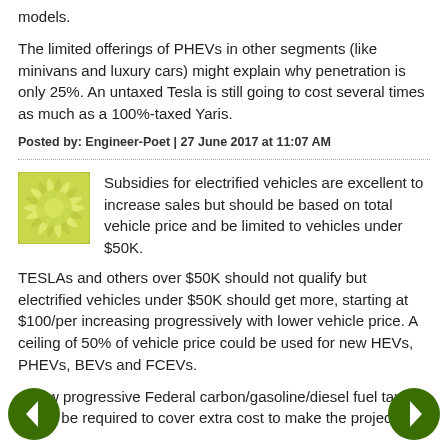models.
The limited offerings of PHEVs in other segments (like minivans and luxury cars) might explain why penetration is only 25%.  An untaxed Tesla is still going to cost several times as much as a 100%-taxed Yaris.
Posted by: Engineer-Poet | 27 June 2017 at 11:07 AM
[Figure (illustration): Green/yellow circular starburst avatar icon for a commenter]
Subsidies for electrified vehicles are excellent to increase sales but should be based on total vehicle price and be limited to vehicles under $50K.
TESLAs and others over $50K should not qualify but electrified vehicles under $50K should get more, starting at $100/per increasing progressively with lower vehicle price. A ceiling of 50% of vehicle price could be used for new HEVs, PHEVs, BEVs and FCEVs.
A new progressive Federal carbon/gasoline/diesel fuel tax would be required to cover extra cost to make the project